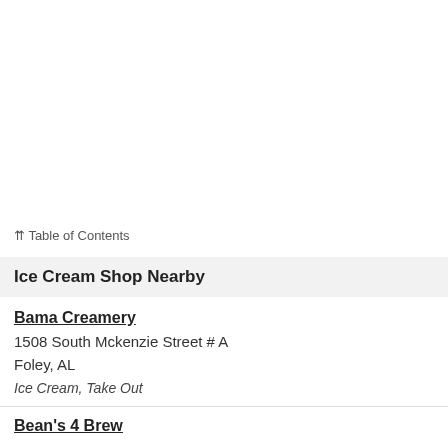⇈ Table of Contents
Ice Cream Shop Nearby
Bama Creamery
1508 South Mckenzie Street # A
Foley, AL
Ice Cream, Take Out
Bean's 4 Brew